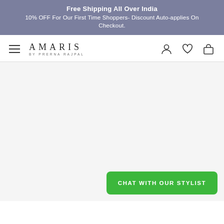Free Shipping All Over India
10% OFF For Our First Time Shoppers- Discount Auto-applies On Checkout.
[Figure (logo): Amaris by Prerna Rajpal logo with hamburger menu icon and nav icons for user, wishlist, and cart]
[Figure (other): Large empty grey content area (main page body)]
CHAT WITH OUR STYLIST